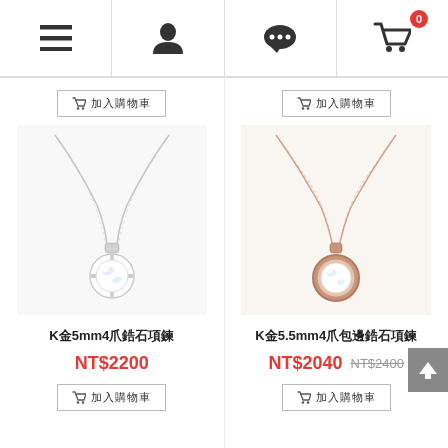Navigation bar with hamburger menu, user icon, chat icon, and cart icon (0 items)
[Figure (photo): Silver necklace with 4-prong solitaire crystal pendant on white background]
[Figure (photo): Rose gold necklace with bezel-set crystal pendant on white background]
K金5mm4爪锆石项链
K金5.5mm4爪包边锆石项链
NT$2200
NT$2040  NT$2400
加入购物车
加入购物车
加入购物车
加入购物车